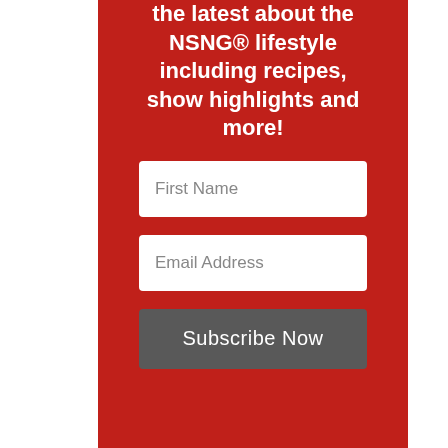the latest about the NSNG® lifestyle including recipes, show highlights and more!
First Name
Email Address
Subscribe Now